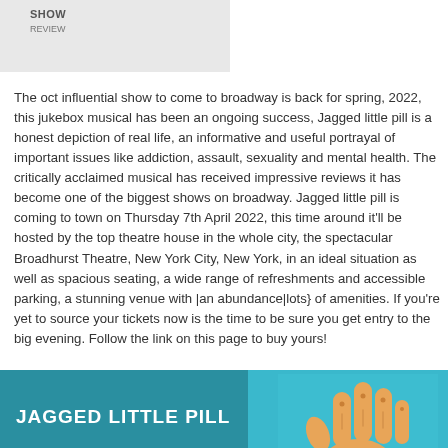[Figure (photo): Partial image or logo placeholder in gray box at top left]
The oct influential show to come to broadway is back for spring, 2022, this jukebox musical has been an ongoing success, Jagged little pill is a honest depiction of real life, an informative and useful portrayal of important issues like addiction, assault, sexuality and mental health. The critically acclaimed musical has received impressive reviews it has become one of the biggest shows on broadway. Jagged little pill is coming to town on Thursday 7th April 2022, this time around it'll be hosted by the top theatre house in the whole city, the spectacular Broadhurst Theatre, New York City, New York, in an ideal situation as well as spacious seating, a wide range of refreshments and accessible parking, a stunning venue with |an abundance|lots} of amenities. If you're yet to source your tickets now is the time to be sure you get entry to the big evening. Follow the link on this page to buy yours!
[Figure (illustration): Teal/cyan promotional banner for Jagged Little Pill with white bold text on left and illustrated hand graphic on right]